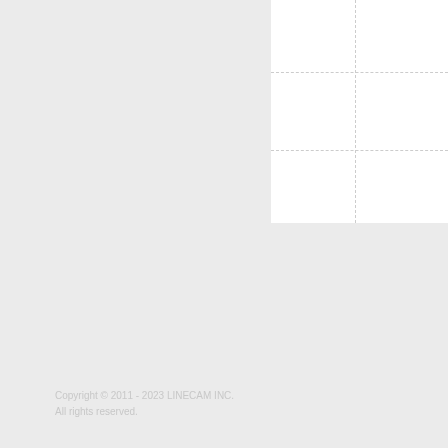[Figure (other): White panel with dashed grid lines forming a 2x3 grid layout on the right side of the page against a light gray background]
Copyright © 2011 - 2023 LINECAM INC.
All rights reserved.